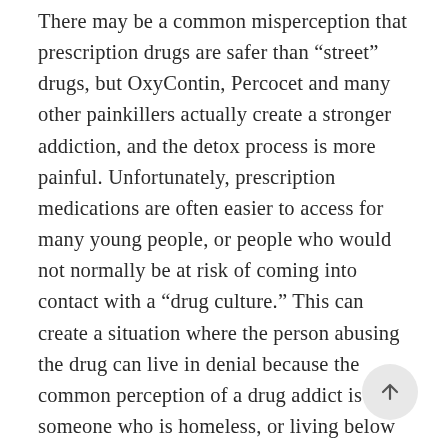There may be a common misperception that prescription drugs are safer than “street” drugs, but OxyContin, Percocet and many other painkillers actually create a stronger addiction, and the detox process is more painful. Unfortunately, prescription medications are often easier to access for many young people, or people who would not normally be at risk of coming into contact with a “drug culture.” This can create a situation where the person abusing the drug can live in denial because the common perception of a drug addict is someone who is homeless, or living below the poverty line, and many drug addicts don’t fall into this demographic.